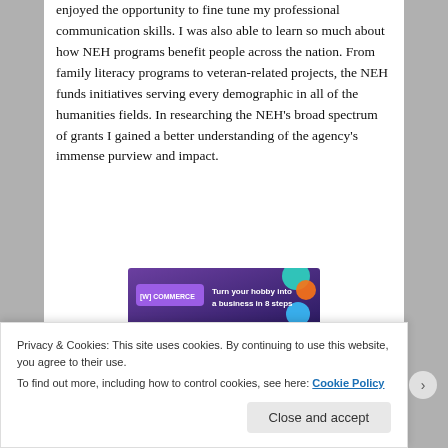enjoyed the opportunity to fine tune my professional communication skills. I was also able to learn so much about how NEH programs benefit people across the nation. From family literacy programs to veteran-related projects, the NEH funds initiatives serving every demographic in all of the humanities fields. In researching the NEH's broad spectrum of grants I gained a better understanding of the agency's immense purview and impact.
[Figure (other): WooCommerce advertisement banner: 'Turn your hobby into a business in 8 steps' on dark purple background with colorful geometric shapes]
Privacy & Cookies: This site uses cookies. By continuing to use this website, you agree to their use.
To find out more, including how to control cookies, see here: Cookie Policy
Close and accept